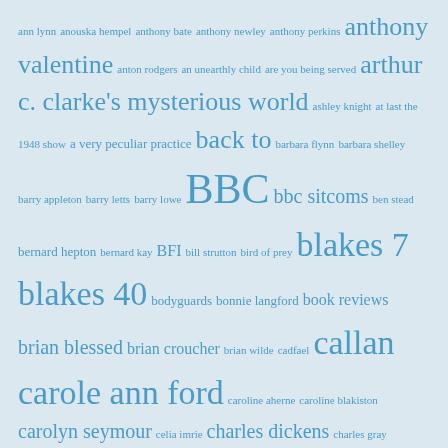[Figure (other): Tag cloud of British television and entertainment related terms in various sizes of blue text on a light blue-grey background. Terms include names of actors, TV shows, and topics, sized by frequency/importance.]